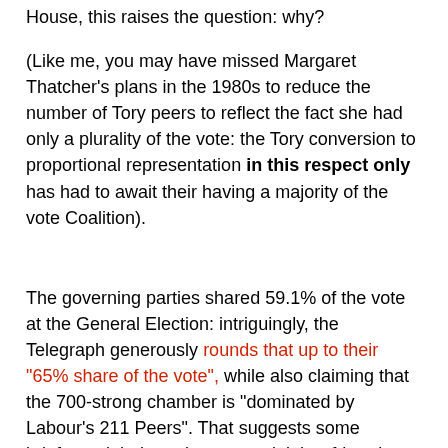House, this raises the question: why?
(Like me, you may have missed Margaret Thatcher's plans in the 1980s to reduce the number of Tory peers to reflect the fact she had only a plurality of the vote: the Tory conversion to proportional representation in this respect only has had to await their having a majority of the vote Coalition).
The governing parties shared 59.1% of the vote at the General Election: intriguingly, the Telegraph generously rounds that up to their "65% share of the vote", while also claiming that the 700-strong chamber is "dominated by Labour's 211 Peers". That suggests some briefers might be trying some sleight-of-hand - such as the share of the three-party vote, or those parties represented in the Commons. And I rather doubt that the Coalition is going to appoint Lord Nick Griffin as one of the first BNP peers, complicating their objetive somewhat.
Perhaps the new Cameron-Clegg Peers could be called the Lloyd George Centenary Class of 2011, as they enter the